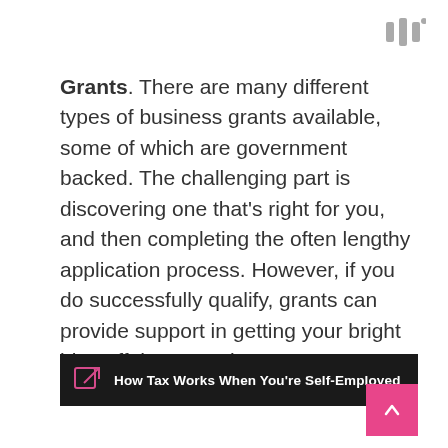W°
Grants. There are many different types of business grants available, some of which are government backed. The challenging part is discovering one that's right for you, and then completing the often lengthy application process. However, if you do successfully qualify, grants can provide support in getting your bright idea off the ground.
How Tax Works When You're Self-Employed